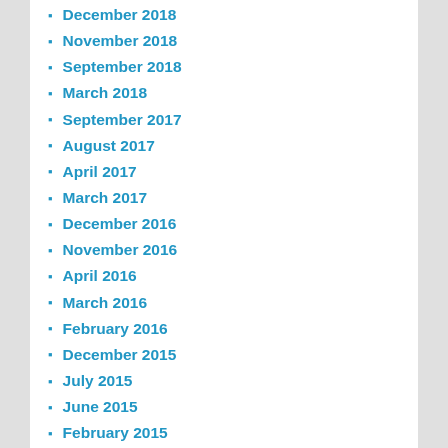December 2018
November 2018
September 2018
March 2018
September 2017
August 2017
April 2017
March 2017
December 2016
November 2016
April 2016
March 2016
February 2016
December 2015
July 2015
June 2015
February 2015
November 2014
October 2014
July 2014
May 2014
April 2014